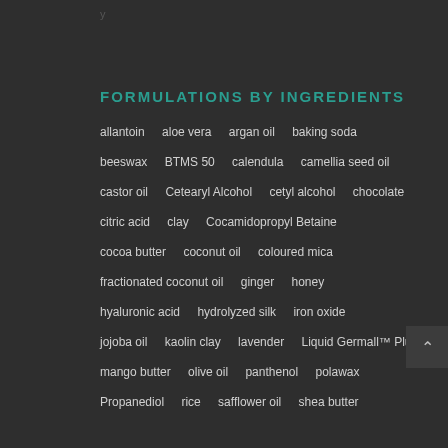FORMULATIONS BY INGREDIENTS
allantoin
aloe vera
argan oil
baking soda
beeswax
BTMS 50
calendula
camellia seed oil
castor oil
Cetearyl Alcohol
cetyl alcohol
chocolate
citric acid
clay
Cocamidopropyl Betaine
cocoa butter
coconut oil
coloured mica
fractionated coconut oil
ginger
honey
hyaluronic acid
hydrolyzed silk
iron oxide
jojoba oil
kaolin clay
lavender
Liquid Germall™ Plus
mango butter
olive oil
panthenol
polawax
Propanediol
rice
safflower oil
shea butter